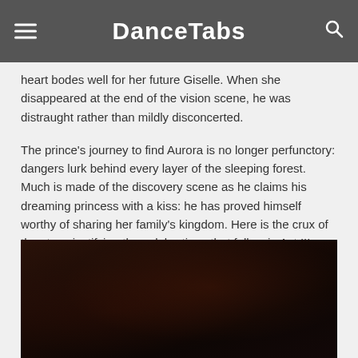DanceTabs
heart bodes well for her future Giselle. When she disappeared at the end of the vision scene, he was distraught rather than mildly disconcerted.
The prince’s journey to find Aurora is no longer perfunctory: dangers lurk behind every layer of the sleeping forest. Much is made of the discovery scene as he claims his dreaming princess with a kiss: he has proved himself worthy of sharing her family’s kingdom. Here is the crux of the story, justifying the celebrations that follow in Act III.
[Figure (photo): Dark stage photograph showing performers in dim reddish lighting, nearly silhouetted against a very dark background.]